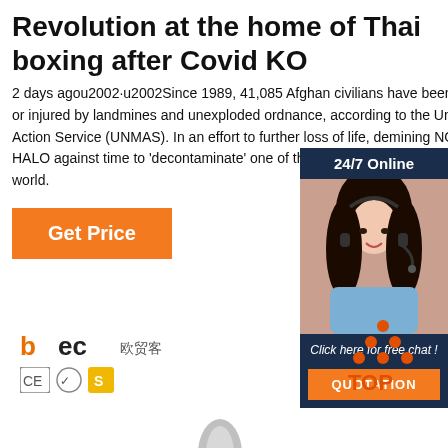Revolution at the home of Thai boxing after Covid KO
2 days agou2002·u2002Since 1989, 41,085 Afghan civilians have been killed or injured by landmines and unexploded ordnance, according to the United Mine Action Service (UNMAS). In an effort to further loss of life, demining NGO the HALO against time to 'decontaminate' one of the most mined countries in the world.
Get Price
[Figure (infographic): 24/7 Online chat widget with woman wearing headset, dark blue background, orange QUOTATION button, 'Click here for free chat!' text]
[Figure (logo): bec logo with Chinese characters and CE certification icons]
[Figure (logo): TOP arrow logo in orange/red dots triangle pointing up with TOP text below]